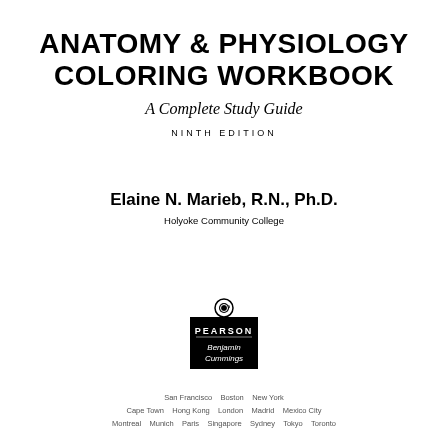ANATOMY & PHYSIOLOGY COLORING WORKBOOK
A Complete Study Guide
NINTH EDITION
Elaine N. Marieb, R.N., Ph.D.
Holyoke Community College
[Figure (logo): Pearson Benjamin Cummings publisher logo — black rectangle with circle on top containing a stylized figure, text PEARSON in bold, Benjamin Cummings in italic below]
San Francisco   Boston   New York
Cape Town   Hong Kong   London   Madrid   Mexico City
Montreal   Munich   Paris   Singapore   Sydney   Tokyo   Toronto